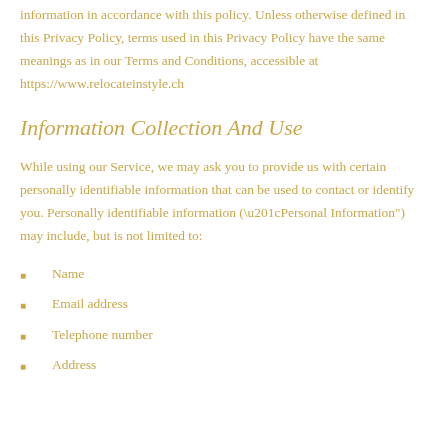information in accordance with this policy. Unless otherwise defined in this Privacy Policy, terms used in this Privacy Policy have the same meanings as in our Terms and Conditions, accessible at https://www.relocateinstyle.ch
Information Collection And Use
While using our Service, we may ask you to provide us with certain personally identifiable information that can be used to contact or identify you. Personally identifiable information (“Personal Information”) may include, but is not limited to:
Name
Email address
Telephone number
Address